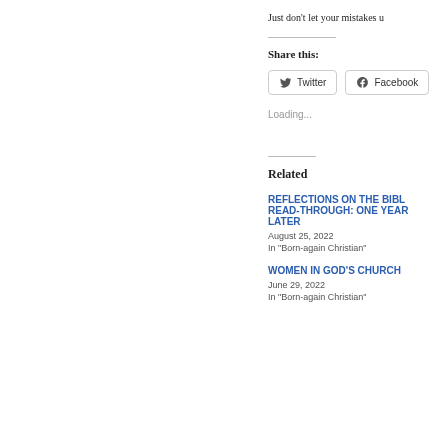Just don't let your mistakes u
Share this:
Twitter
Facebook
Loading...
Related
REFLECTIONS ON THE BIBLE READ-THROUGH: ONE YEAR LATER
August 25, 2022
In "Born-again Christian"
WOMEN IN GOD'S CHURCH
June 29, 2022
In "Born-again Christian"